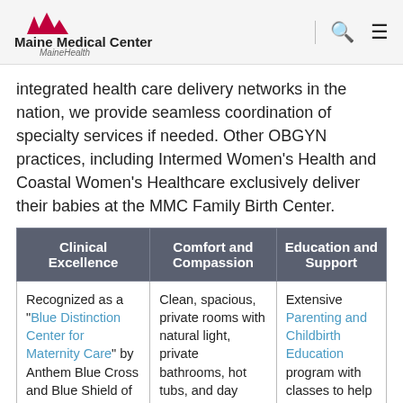Maine Medical Center — MaineHealth
integrated health care delivery networks in the nation, we provide seamless coordination of specialty services if needed. Other OBGYN practices, including Intermed Women's Health and Coastal Women's Healthcare exclusively deliver their babies at the MMC Family Birth Center.
| Clinical Excellence | Comfort and Compassion | Education and Support |
| --- | --- | --- |
| Recognized as a "Blue Distinction Center for Maternity Care" by Anthem Blue Cross and Blue Shield of Maine for delivering quality | Clean, spacious, private rooms with natural light, private bathrooms, hot tubs, and day beds | Extensive Parenting and Childbirth Education program with classes to help you prepare |